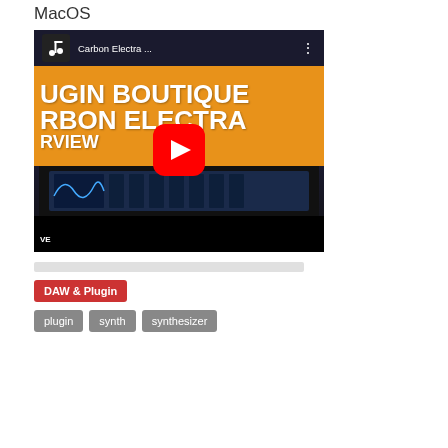MacOS
[Figure (screenshot): YouTube video thumbnail for Carbon Electra synthesizer plugin review by Plugin Boutique. Shows a large orange banner with text 'UGIN BOUTIQUE', 'RBON ELECTRA', 'RVIEW' and a red YouTube play button in the center. Below the banner is an image of a synthesizer plugin interface with keyboard and controls.]
[Figure (other): Gray horizontal progress/divider bar]
DAW & Plugin
plugin   synth   synthesizer